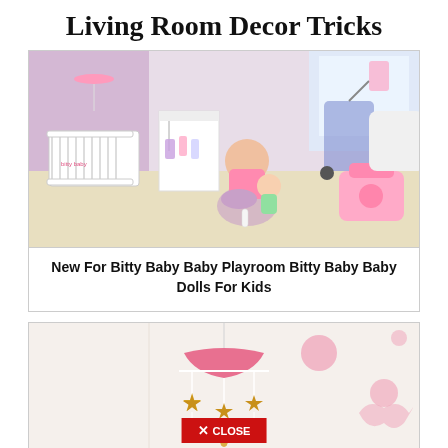Living Room Decor Tricks
[Figure (photo): A young girl sitting on the floor playing with a baby doll, surrounded by pink and white doll furniture including a crib, wardrobe, stroller, and diaper bag. The room has a lavender and white color scheme.]
New For Bitty Baby Baby Playroom Bitty Baby Baby Dolls For Kids
[Figure (photo): A hanging baby mobile with a pink canopy top and gold star decorations, hanging on white strings against a light beige wall with pink polka dot wall decals. A partial close button is visible at the bottom.]